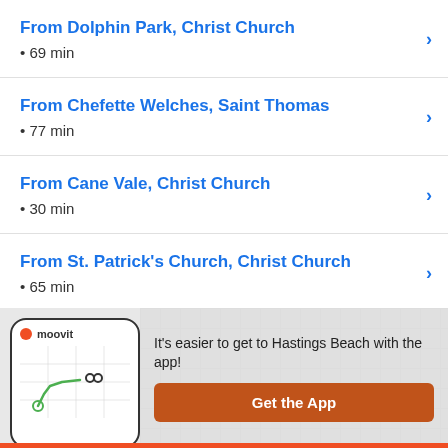From Dolphin Park, Christ Church • 69 min
From Chefette Welches, Saint Thomas • 77 min
From Cane Vale, Christ Church • 30 min
From St. Patrick's Church, Christ Church • 65 min
[Figure (screenshot): Moovit app banner with phone mockup showing map route, text 'It's easier to get to Hastings Beach with the app!' and 'Get the App' button]